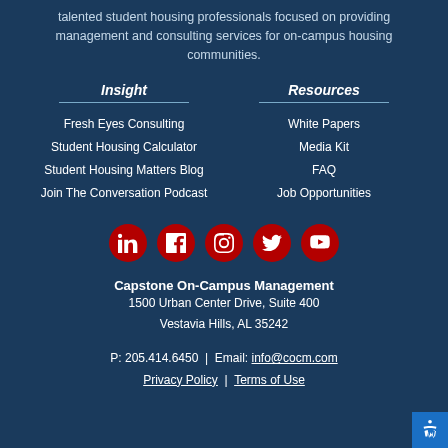talented student housing professionals focused on providing management and consulting services for on-campus housing communities.
Insight
Fresh Eyes Consulting
Student Housing Calculator
Student Housing Matters Blog
Join The Conversation Podcast
Resources
White Papers
Media Kit
FAQ
Job Opportunities
[Figure (infographic): Row of 5 red circular social media icons: LinkedIn, Facebook, Instagram, Twitter, YouTube]
Capstone On-Campus Management
1500 Urban Center Drive, Suite 400
Vestavia Hills, AL 35242
P: 205.414.6450  |  Email: info@cocm.com
Privacy Policy  |  Terms of Use